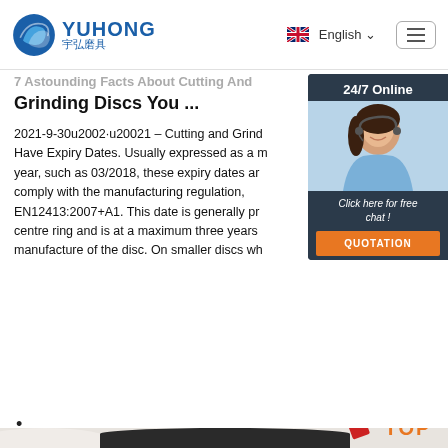[Figure (logo): Yuhong logo with blue wave graphic and Chinese text 宇弘磨具]
English ▾  [menu icon]
7 Astounding Facts About Cutting And Grinding Discs You ...
2021-9-30u2002·u20021 – Cutting and Grinding Discs Have Expiry Dates. Usually expressed as a month and year, such as 03/2018, these expiry dates are required to comply with the manufacturing regulation, EN12413:2007+A1. This date is generally printed on the centre ring and is at a maximum three years from date of manufacture of the disc. On smaller discs wh
[Figure (photo): 24/7 Online chat widget showing a smiling female customer service representative with headset, with 'Click here for free chat!' text and an orange QUOTATION button]
Get Price
•
[Figure (photo): Anglo Abrasives Industries metal grinding disc product photo showing label text: ANGLO, ABRASIVES INDUSTRIES, METAL, Stahl-Steel-Acier-Acero]
[Figure (logo): Orange TOP button with dots arranged in triangle shape]